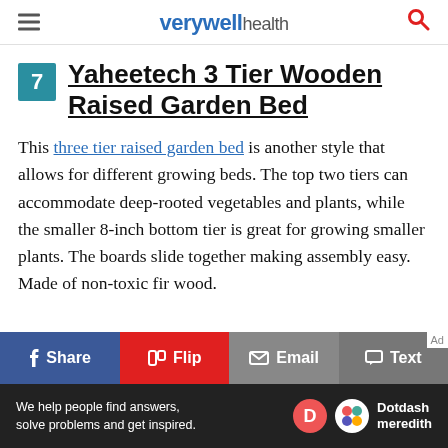verywell health
7 Yaheetech 3 Tier Wooden Raised Garden Bed
This three tier raised garden bed is another style that allows for different growing beds. The top two tiers can accommodate deep-rooted vegetables and plants, while the smaller 8-inch bottom tier is great for growing smaller plants. The boards slide together making assembly easy. Made of non-toxic fir wood.
Share | Flip | Email | Text | Ad | We help people find answers, solve problems and get inspired. Dotdash meredith